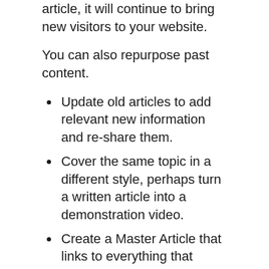article, it will continue to bring new visitors to your website.
You can also repurpose past content.
Update old articles to add relevant new information and re-share them.
Cover the same topic in a different style, perhaps turn a written article into a demonstration video.
Create a Master Article that links to everything that you’re written about a particular topic.
Read more in 6 incredibly effective ways to repurpose old blog posts.
Another suggestion is to use a “related